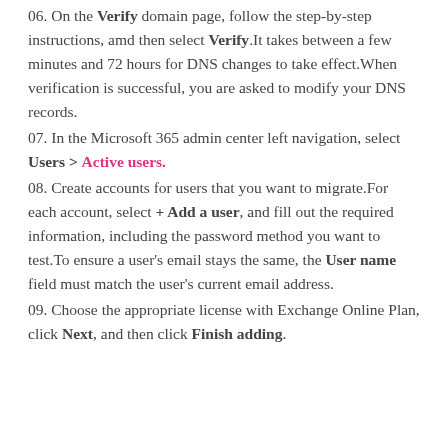06. On the Verify domain page, follow the step-by-step instructions, amd then select Verify.It takes between a few minutes and 72 hours for DNS changes to take effect.When verification is successful, you are asked to modify your DNS records.
07. In the Microsoft 365 admin center left navigation, select Users > Active users.
08. Create accounts for users that you want to migrate.For each account, select + Add a user, and fill out the required information, including the password method you want to test.To ensure a user's email stays the same, the User name field must match the user's current email address.
09. Choose the appropriate license with Exchange Online Plan, click Next, and then click Finish adding.